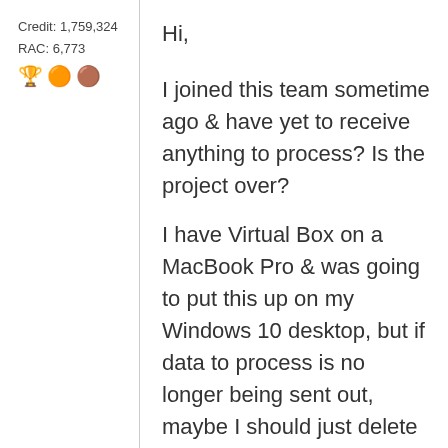Credit: 1,759,324
RAC: 6,773
[Figure (illustration): Three emoji badges: a trophy/award figure emoji, a light peach circle emoji, and a slightly darker peach circle emoji]
Hi,

I joined this team sometime ago & have yet to receive anything to process? Is the project over?

I have Virtual Box on a MacBook Pro & was going to put this up on my Windows 10 desktop, but if data to process is no longer being sent out, maybe I should just delete the project?

Thanks,